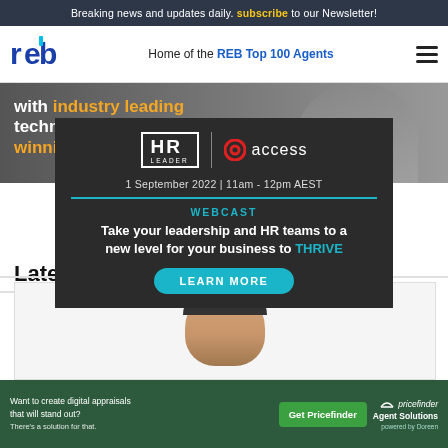Breaking news and updates daily. subscribe to our Newsletter!
[Figure (logo): REB logo - home of the REB Top 100 Agents navigation bar]
[Figure (photo): Background image with text overlay: with industry leading technology and award winning training]
[Figure (infographic): HR Leader + Access webcast ad: 1 September 2022 | 11am - 12pm AEST. WEBCAST: Take your leadership and HR teams to a new level for your business to THRIVE. LEARN MORE button.]
Late...
[Figure (photo): Partial photo of a man's face/head]
[Figure (infographic): Pricefinder Agent Solutions ad: Want to create digital appraisals that will stand out? There's a solution for that. Get Pricefinder button.]